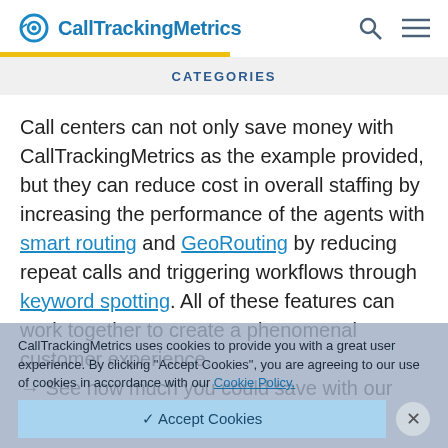CallTrackingMetrics
CATEGORIES
Call centers can not only save money with CallTrackingMetrics as the example provided, but they can reduce cost in overall staffing by increasing the performance of the agents with smart routing and GeoRouting by reducing repeat calls and triggering workflows through keyword spotting. All of these features can work together to create a phenomenal customer experience.
→ See how much you could save with our ConnectPlan Calculator
CallTrackingMetrics uses cookies to provide you with a great user experience. By clicking "Accept Cookies", you are agreeing to our use of cookies in accordance with our Cookie Policy.